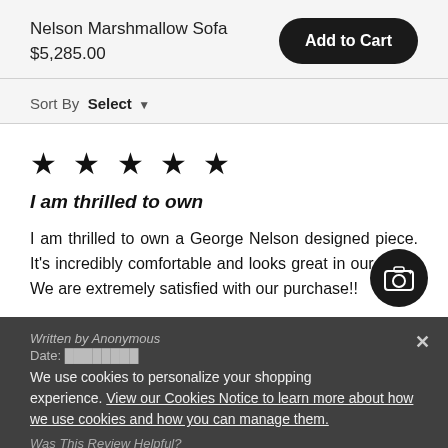Nelson Marshmallow Sofa
$5,285.00
Add to Cart
Sort By Select
★★★★★
I am thrilled to own
I am thrilled to own a George Nelson designed piece. It's incredibly comfortable and looks great in our foyer. We are extremely satisfied with our purchase!!
Written by Anonymous
We use cookies to personalize your shopping experience. View our Cookies Notice to learn more about how we use cookies and how you can manage them.
Was This Review Helpful?